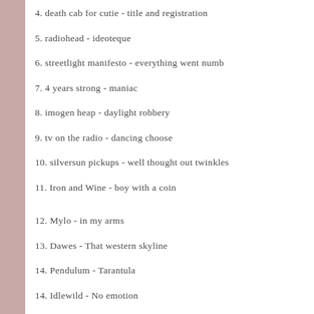4. death cab for cutie - title and registration
5. radiohead - ideoteque
6. streetlight manifesto - everything went numb
7. 4 years strong - maniac
8. imogen heap - daylight robbery
9. tv on the radio - dancing choose
10. silversun pickups - well thought out twinkles
11. Iron and Wine - boy with a coin
12. Mylo - in my arms
13. Dawes - That western skyline
14. Pendulum - Tarantula
14. Idlewild - No emotion